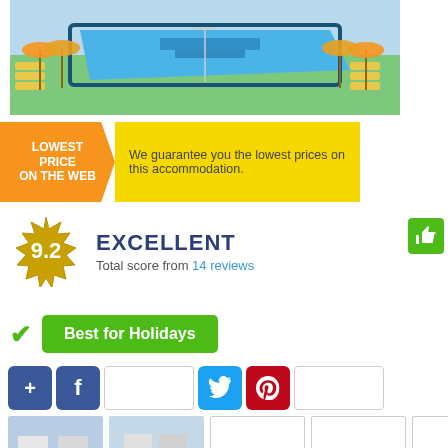[Figure (photo): Aerial view of a hotel swimming pool with sun loungers, yellow umbrellas and green lawn area]
[Figure (infographic): Lowest Price On The Web banner: orange chevron badge with white text 'LOWEST PRICE ON THE WEB' and yellow rectangle with text 'We guarantee you the lowest prices on this accommodation.']
EXCELLENT
Total score from 14 reviews
[Figure (infographic): Green thumbs-up icon button]
[Figure (infographic): Best for Holidays green button with green checkmark]
[Figure (infographic): Social sharing buttons row: blue plus, Facebook, share box, Twitter bird, Pinterest P, share box]
[Figure (photo): Row of hotel thumbnail photos at bottom]